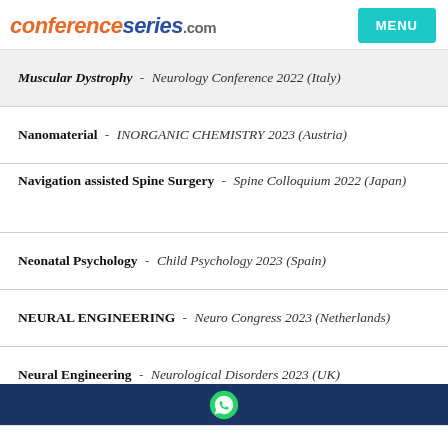conferenceseries.com | MENU
Muscular Dystrophy - Neurology Conference 2022 (Italy)
Nanomaterial - INORGANIC CHEMISTRY 2023 (Austria)
Navigation assisted Spine Surgery - Spine Colloquium 2022 (Japan)
Neonatal Psychology - Child Psychology 2023 (Spain)
NEURAL ENGINEERING - Neuro Congress 2023 (Netherlands)
Neural Engineering - Neurological Disorders 2023 (UK)
Neuro Cardiology - Stroke Global-2023 (Germany)
Neuro Cardiology & Strokes - NEUROGENETICS 2023 (Japan)